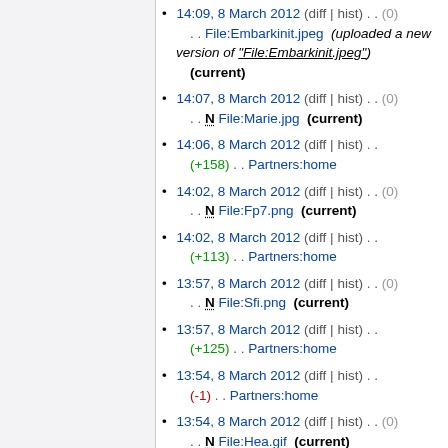14:09, 8 March 2012 (diff | hist) . . (0) . . File:Embarkinit.jpeg (uploaded a new version of "File:Embarkinit.jpeg") (current)
14:07, 8 March 2012 (diff | hist) . . (0) . . N File:Marie.jpg (current)
14:06, 8 March 2012 (diff | hist) . . (+158) . . Partners:home
14:02, 8 March 2012 (diff | hist) . . (0) . . N File:Fp7.png (current)
14:02, 8 March 2012 (diff | hist) . . (+113) . . Partners:home
13:57, 8 March 2012 (diff | hist) . . (0) . . N File:Sfi.png (current)
13:57, 8 March 2012 (diff | hist) . . (+125) . . Partners:home
13:54, 8 March 2012 (diff | hist) . . (-1) . . Partners:home
13:54, 8 March 2012 (diff | hist) . . (0) . . N File:Hea.gif (current)